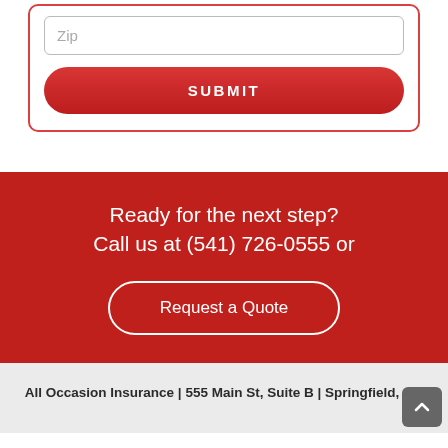Zip
SUBMIT
Ready for the next step?
Call us at (541) 726-0555 or
Request a Quote
All Occasion Insurance | 555 Main St, Suite B | Springfield, OR